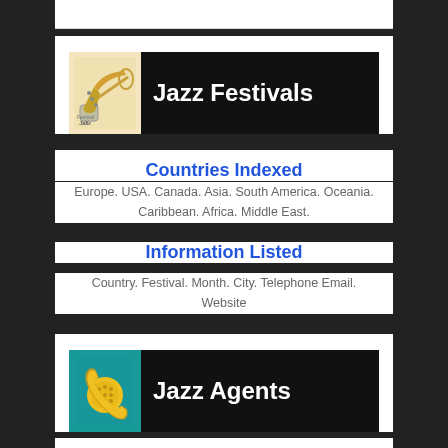[Figure (logo): Jazz Festivals banner with trumpet icon on black background]
Countries Indexed
Europe. USA. Canada. Asia. South America. Oceania. Caribbean. Africa. Middle East.
Information Listed
Country. Festival. Month. City. Telephone Email. Website
[Figure (logo): Jazz Agents banner with telephone icon on black background]
Countries Indexed
Bangladesh. Korea. Taiwan. Austria. Belgium. Bulgaria. Denmark. Estonia. Finland. Finland. France. Germany.